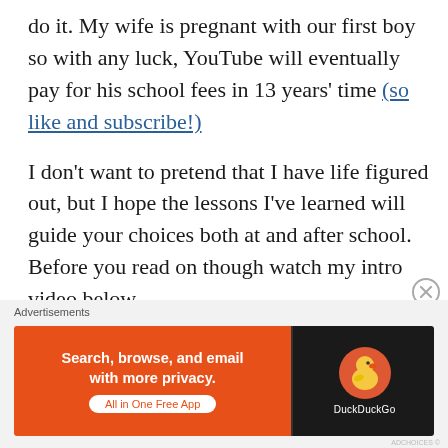do it. My wife is pregnant with our first boy so with any luck, YouTube will eventually pay for his school fees in 13 years' time (so like and subscribe!)
I don't want to pretend that I have life figured out, but I hope the lessons I've learned will guide your choices both at and after school. Before you read on though watch my intro video below.
[Figure (other): DuckDuckGo advertisement banner: orange left section with text 'Search, browse, and email with more privacy. All in One Free App', dark right section with DuckDuckGo logo and name.]